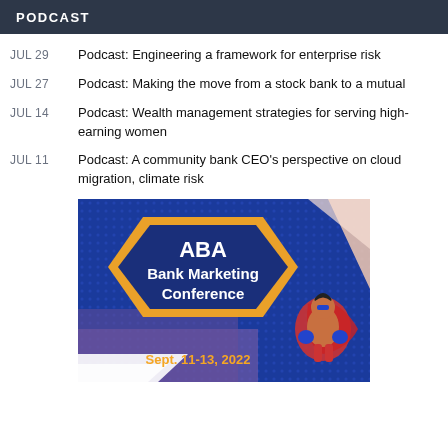PODCAST
JUL 29 — Podcast: Engineering a framework for enterprise risk
JUL 27 — Podcast: Making the move from a stock bank to a mutual
JUL 14 — Podcast: Wealth management strategies for serving high-earning women
JUL 11 — Podcast: A community bank CEO's perspective on cloud migration, climate risk
[Figure (illustration): ABA Bank Marketing Conference advertisement banner. Blue background with dot pattern. Gold hexagon shape containing bold white text: ABA Bank Marketing Conference. Bottom text: Sept. 11-13, 2022. Illustrated superhero figure on the right side.]